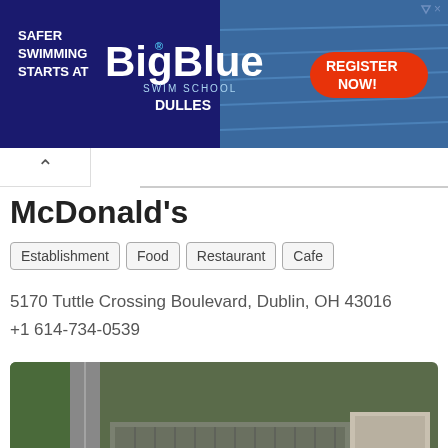[Figure (screenshot): BigBlue Swim School advertisement banner: dark blue background with text 'SAFER SWIMMING STARTS AT' on the left, 'BigBlue SWIM SCHOOL DULLES' in large white/blue text in the center, a photo of a swim school pool on the right, and a red 'REGISTER NOW!' button on the far right. Small ad icon (triangle and X) in the top-right corner.]
McDonald's
Establishment
Food
Restaurant
Cafe
5170 Tuttle Crossing Boulevard, Dublin, OH 43016
+1 614-734-0539
[Figure (map): Aerial satellite map view showing a parking lot and commercial area with a large red location pin marker in the center indicating the McDonald's location at 5170 Tuttle Crossing Boulevard, Dublin, OH 43016.]